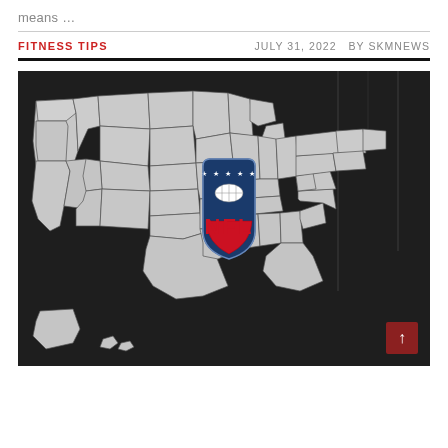means …
FITNESS TIPS
JULY 31, 2022   BY SKMNEWS
[Figure (map): Map of the United States in white/gray on a dark background with the NFL shield logo (blue/red/white with football and stars) overlaid in the center of the country. A red scroll-to-top button appears in the lower right corner.]